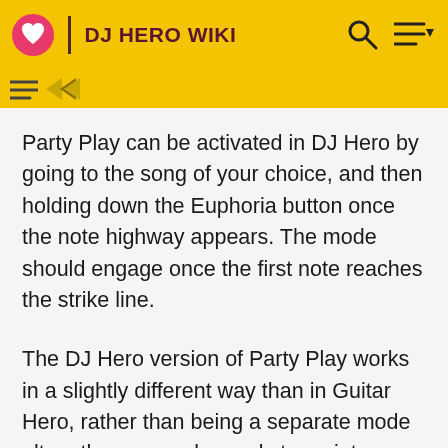DJ HERO WIKI
Party Play can be activated in DJ Hero by going to the song of your choice, and then holding down the Euphoria button once the note highway appears.  The mode should engage once the first note reaches the strike line.
The DJ Hero version of Party Play works in a slightly different way than in Guitar Hero, rather than being a separate mode altogether, one only needs to go into Quick play mode, and create a setlist/play a song. The mode also does not work like a jukebox, automatically choosing random songs; instead, the player is required to create a setlist.